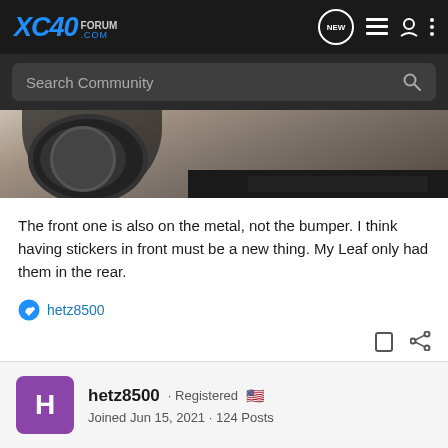XC40 FORUM.COM navigation bar with search
[Figure (photo): Partial view of a car bumper area, showing wheel and dark lower bumper trim against a gravelly background.]
The front one is also on the metal, not the bumper. I think having stickers in front must be a new thing. My Leaf only had them in the rear.
hetz8500
hetz8500 · Registered
Joined Jun 15, 2021 · 124 Posts
#8 · Sep 24, 2021